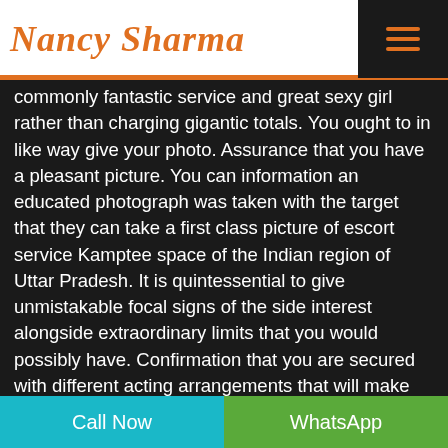[Figure (logo): Nancy Sharma script logo in orange with orange underline, and hamburger menu icon on dark background]
commonly fantastic service and great sexy girl rather than charging gigantic totals. You ought to in like way give your photo. Assurance that you have a pleasant picture. You can information an educated photograph was taken with the target that they can take a first class picture of escort service Kamptee space of the Indian region of Uttar Pradesh. It is quintessential to give unmistakable focal signs of the side interest alongside extraordinary limits that you would possibly have. Confirmation that you are secured with different acting arrangements that will make you acclaimed. I consider myself to be a long-life understudy of the real articulations. I have an amazing person and love to create relationship with my
Call Now   WhatsApp